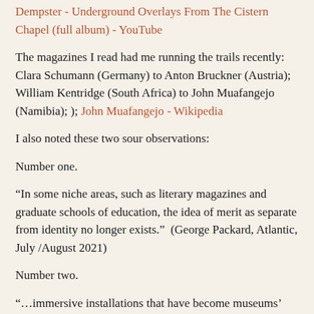Dempster - Underground Overlays From The Cistern Chapel (full album) - YouTube
The magazines I read had me running the trails recently: Clara Schumann (Germany) to Anton Bruckner (Austria); William Kentridge (South Africa) to John Muafangejo (Namibia); ); John Muafangejo - Wikipedia
I also noted these two sour observations:
Number one.
“In some niche areas, such as literary magazines and graduate schools of education, the idea of merit as separate from identity no longer exists.”  (George Packard, Atlantic, July /August 2021)
Number two.
“…immersive installations that have become museums’ most popular attractions in the last two decades create environments where art is not an object of contemplation but a backdrop for self-actualization, where the collectivity of the museum public breaks